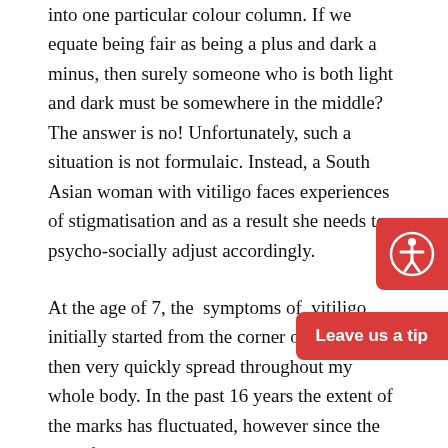into one particular colour column. If we equate being fair as being a plus and dark a minus, then surely someone who is both light and dark must be somewhere in the middle? The answer is no! Unfortunately, such a situation is not formulaic. Instead, a South Asian woman with vitiligo faces experiences of stigmatisation and as a result she needs to psycho-socially adjust accordingly.
At the age of 7, the symptoms of vitiligo initially started from the corner of my eye, then very quickly spread throughout my whole body. In the past 16 years the extent of the marks has fluctuated, however since the age of 7 I have never been one colour, but rather in between colour columns. Growing up in the UK as a Bengali Muslim Woman with vitiligo is as intersectional as I could ever imagine the lives of the other children I went to school with.